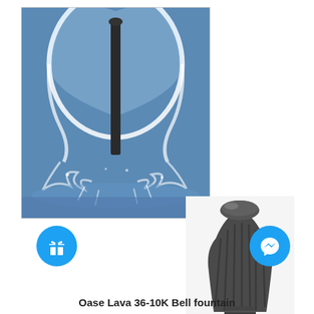[Figure (photo): Product listing image showing a bell fountain water feature (Oase Lava 36-10K). Left/main image shows the bell-shaped water jet in action against a blue sky background with water splashing at the base. Overlapping smaller image on the right shows the dark grey nozzle/head unit of the fountain. At the bottom left is a blue circular gift/present icon button, and at the bottom right is a blue circular Facebook Messenger icon button.]
Oase Lava 36-10K Bell fountain